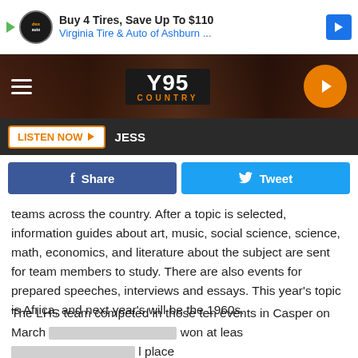[Figure (screenshot): Advertisement banner: Buy 4 Tires, Save Up To $110 - Virginia Tire & Auto of Ashburn ...]
[Figure (logo): Y95 Country radio station navigation bar with hamburger menu and orange play button]
LISTEN NOW  JESS
[Figure (screenshot): Social sharing buttons: f Share and Tweet]
teams across the country. After a topic is selected, information guides about art, music, social science, science, math, economics, and literature about the subject are sent for team members to study. There are also events for prepared speeches, interviews and essays. This year's topic is Africa, and next year's will be the 1960s.
The LHS team competed in those ten events in Casper on March [redacted] won at leas[redacted] l place